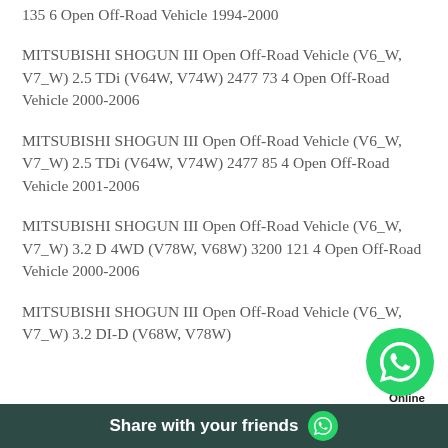135 6 Open Off-Road Vehicle 1994-2000
MITSUBISHI SHOGUN III Open Off-Road Vehicle (V6_W, V7_W) 2.5 TDi (V64W, V74W) 2477 73 4 Open Off-Road Vehicle 2000-2006
MITSUBISHI SHOGUN III Open Off-Road Vehicle (V6_W, V7_W) 2.5 TDi (V64W, V74W) 2477 85 4 Open Off-Road Vehicle 2001-2006
MITSUBISHI SHOGUN III Open Off-Road Vehicle (V6_W, V7_W) 3.2 D 4WD (V78W, V68W) 3200 121 4 Open Off-Road Vehicle 2000-2006
MITSUBISHI SHOGUN III Open Off-Road Vehicle (V6_W, V7_W) 3.2 DI-D (V68W, V78W)
Share with your friends